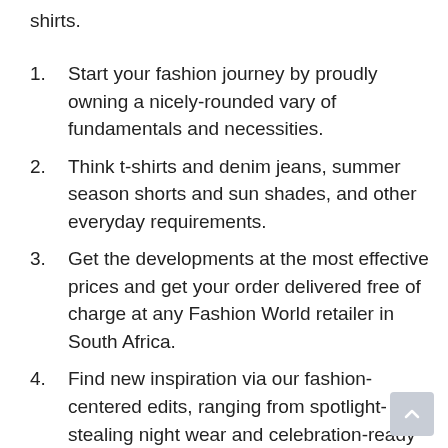shirts.
Start your fashion journey by proudly owning a nicely-rounded vary of fundamentals and necessities.
Think t-shirts and denim jeans, summer season shorts and sun shades, and other everyday requirements.
Get the developments at the most effective prices and get your order delivered free of charge at any Fashion World retailer in South Africa.
Find new inspiration via our fashion-centered edits, ranging from spotlight-stealing night wear and celebration-ready dresses, to florals and other on-trend prints, to athleisure and off-obligation put